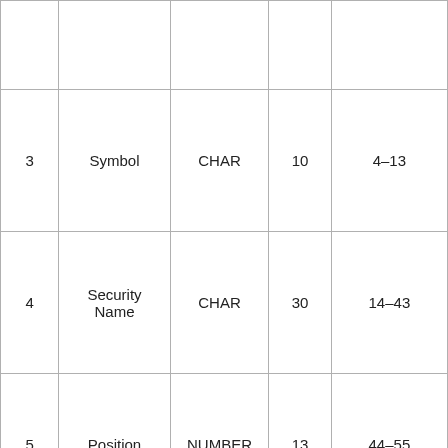|  |  |  |  |  |
| 3 | Symbol | CHAR | 10 | 4–13 |
| 4 | Security Name | CHAR | 30 | 14–43 |
| 5 | Position | NUMBER | 13 | 44–55 |